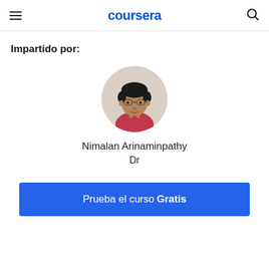coursera
Impartido por:
[Figure (photo): Circular profile photo of Nimalan Arinaminpathy, a man wearing glasses and a red/pink polo shirt, shown from shoulders up against a white background]
Nimalan Arinaminpathy
Dr
Prueba el curso Gratis